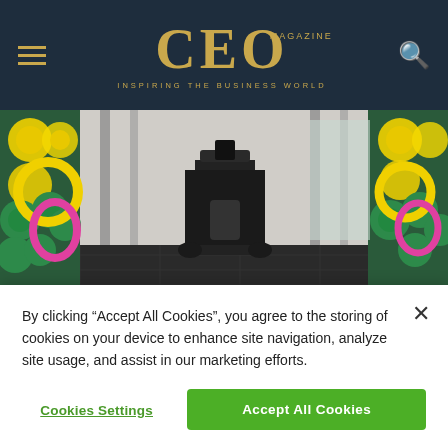CEO Magazine — INSPIRING THE BUSINESS WORLD
[Figure (photo): Gym interior with colorful weight plates (yellow and green), exercise machines including a rowing machine, and a mirrored wall reflecting the equipment. Dark floor tiles.]
[Figure (photo): Partial view of a second image with warm amber and dark tones, likely an interior space.]
By clicking "Accept All Cookies", you agree to the storing of cookies on your device to enhance site navigation, analyze site usage, and assist in our marketing efforts.
Cookies Settings
Accept All Cookies